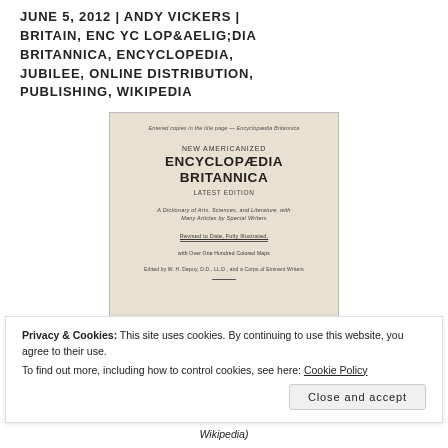JUNE 5, 2012 | ANDY VICKERS | BRITAIN, ENCYCLOPÆDIA BRITANNICA, ENCYCLOPEDIA, JUBILEE, ONLINE DISTRIBUTION, PUBLISHING, WIKIPEDIA
[Figure (photo): Scanned title page of the New Americanized Encyclopædia Britannica, Latest Edition. Shows text: 'New Americanized Encyclopædia Britannica, Latest Edition. A Dictionary of Arts, Sciences, and Literature, with Many Articles by Special Writers. Revised to Date, Fully Illustrated, with Over One Hundred Colored Maps. Edited by W. H. Depuy, D.D., LL.D., and a Corps of Eminent Writers.']
Privacy & Cookies: This site uses cookies. By continuing to use this website, you agree to their use.
To find out more, including how to control cookies, see here: Cookie Policy
Wikipedia)